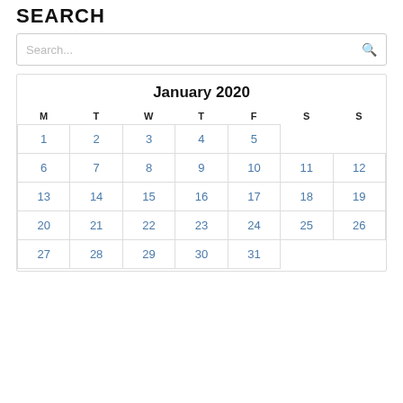SEARCH
Search...
| M | T | W | T | F | S | S |
| --- | --- | --- | --- | --- | --- | --- |
| 1 | 2 | 3 | 4 | 5 |  |  |
| 6 | 7 | 8 | 9 | 10 | 11 | 12 |
| 13 | 14 | 15 | 16 | 17 | 18 | 19 |
| 20 | 21 | 22 | 23 | 24 | 25 | 26 |
| 27 | 28 | 29 | 30 | 31 |  |  |